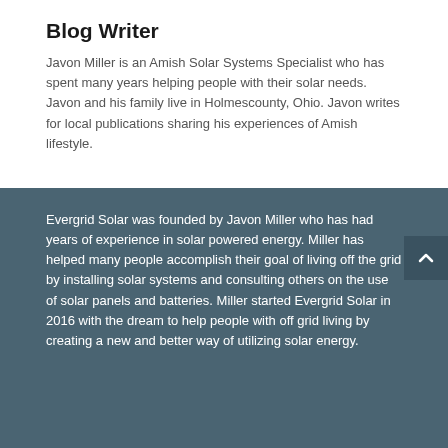Blog Writer
Javon Miller is an Amish Solar Systems Specialist who has spent many years helping people with their solar needs. Javon and his family live in Holmescounty, Ohio. Javon writes for local publications sharing his experiences of Amish lifestyle.
Evergrid Solar was founded by Javon Miller who has had years of experience in solar powered energy. Miller has helped many people accomplish their goal of living off the grid by installing solar systems and consulting others on the use of solar panels and batteries. Miller started Evergrid Solar in 2016 with the dream to help people with off grid living by creating a new and better way of utilizing solar energy.